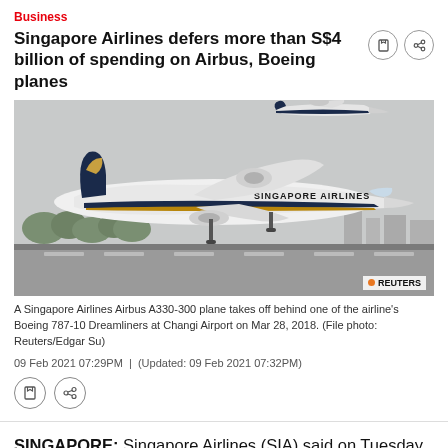Business
Singapore Airlines defers more than S$4 billion of spending on Airbus, Boeing planes
[Figure (photo): A Singapore Airlines Boeing 787-10 Dreamliner on the runway at Changi Airport with an Airbus A330-300 taking off behind it. Reuters watermark visible.]
A Singapore Airlines Airbus A330-300 plane takes off behind one of the airline's Boeing 787-10 Dreamliners at Changi Airport on Mar 28, 2018. (File photo: Reuters/Edgar Su)
09 Feb 2021 07:29PM  |  (Updated: 09 Feb 2021 07:32PM)
SINGAPORE: Singapore Airlines (SIA) said on Tuesday (Feb 9) that it would defer more than S$4 billion of